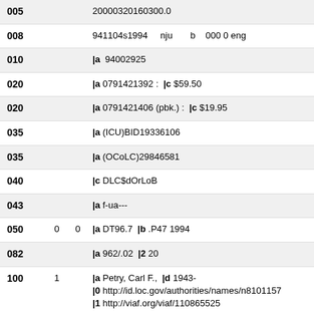| Tag | Ind1 | Ind2 | Data |
| --- | --- | --- | --- |
| 005 |  |  | 20000320160300.0 |
| 008 |  |  | 941104s1994    nju       b    000 0 eng |
| 010 |  |  | |a  94002925 |
| 020 |  |  | |a 0791421392 :  |c $59.50 |
| 020 |  |  | |a 0791421406 (pbk.) :  |c $19.95 |
| 035 |  |  | |a (ICU)BID19336106 |
| 035 |  |  | |a (OCoLC)29846581 |
| 040 |  |  | |c DLC$dOrLoB |
| 043 |  |  | |a f-ua--- |
| 050 | 0 | 0 | |a DT96.7  |b .P47 1994 |
| 082 |  |  | |a 962/.02  |2 20 |
| 100 | 1 |  | |a Petry, Carl F.,  |d 1943-
|0 http://id.loc.gov/authorities/names/n8101157...
|1 http://viaf.org/viaf/110865525 |